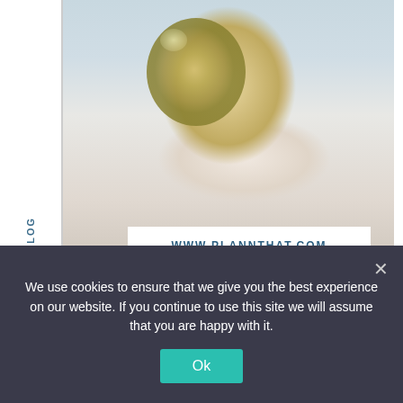[Figure (photo): Smiling blonde woman holding a gold balloon against a light background]
BACK TO BLOG
WWW.PLANNTHAT.COM
9 POSITIVE EFFECTS OF SOCIAL MEDIA YOU
We use cookies to ensure that we give you the best experience on our website. If you continue to use this site we will assume that you are happy with it.